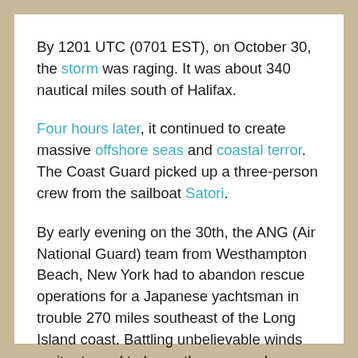By 1201 UTC (0701 EST), on October 30, the storm was raging. It was about 340 nautical miles south of Halifax.
Four hours later, it continued to create massive offshore seas and coastal terror. The Coast Guard picked up a three-person crew from the sailboat Satori.
By early evening on the 30th, the ANG (Air National Guard) team from Westhampton Beach, New York had to abandon rescue operations for a Japanese yachtsman in trouble 270 miles southeast of the Long Island coast. Battling unbelievable winds as it returned to base, the rescue chopper refueled twice, but it wasn't enough.